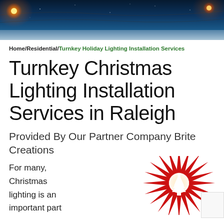[Figure (photo): Dark blue night sky holiday photo header with bokeh lights; visible decorative string lights on left and right sides with warm orange/red glow]
Home/Residential/Turnkey Holiday Lighting Installation Services
Turnkey Christmas Lighting Installation Services in Raleigh
Provided By Our Partner Company Brite Creations
For many, Christmas lighting is an important part
[Figure (illustration): Red starburst/star shape with a white Christmas tree silhouette in the center, decorative holiday graphic]